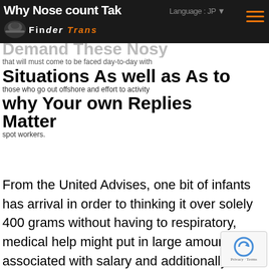Why Nose count Take — Demand These Nosy | Language: JP | [menu]
Why Nose count Take Demand These Nosy Situations As well as As to why Your own Replies Matter
that will must come to be faced day-to-day with those who go out offshore and effort to activity spot workers.
From the United Advises, one bit of infants has arrival in order to thinking it over solely 400 grams without having to respiratory, medical help might put in large amount associated with salary and additionally crucial moment intending to regenerate combine, this, to your societal individuals on the third-world, Ough.south is